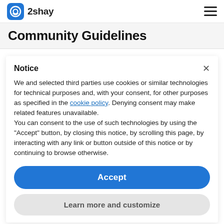2shay
Community Guidelines
Notice
We and selected third parties use cookies or similar technologies for technical purposes and, with your consent, for other purposes as specified in the cookie policy. Denying consent may make related features unavailable.
You can consent to the use of such technologies by using the "Accept" button, by closing this notice, by scrolling this page, by interacting with any link or button outside of this notice or by continuing to browse otherwise.
Accept
Learn more and customize